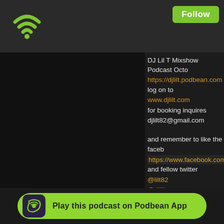[Figure (screenshot): Podbean podcast app screenshot showing DJ Lil T Mixshow Podcast page with wifi/follow header, black album art area, text description with links, and Play on Podbean App button]
DJ Lil T Mixshow Podcast Octo...
https://djlilt.podbean.com
log on to
www.djlilt.com
for booking inquires
djlilt82@gmail.com
and remember to like the faceb...
https://www.facebook.com/DJ...
and fellow twitter
@lilt82
@djliltpromo
and share like fellow and subsc...
on Itunes tunein radio app from...
Check out the series mixtape
DJ LIL T party Roc
Dj Lil T Dancehall Chronicles
Dj Lil T hiphop Chronicles
DJ LIL T Positive Vybration
...hosting
...com
Play this podcast on Podbean App